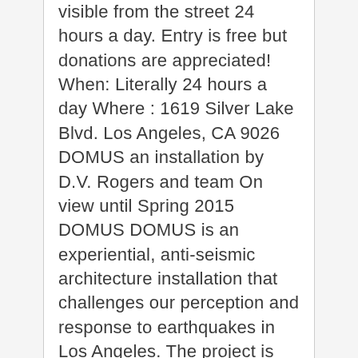visible from the street 24 hours a day. Entry is free but donations are appreciated! When: Literally 24 hours a day Where : 1619 Silver Lake Blvd. Los Angeles, CA 9026   DOMUS an installation by D.V. Rogers and team On view until Spring 2015 DOMUS DOMUS is an experiential, anti-seismic architecture installation that challenges our perception and response to earthquakes in Los Angeles. The project is currently exhibiting at Materials & Applications (M&A) in its outdoor exhibition courtyard and is open free of charge to the public from 10am – 10pm every day of the year. DOMUS is constructed from a low-cost open hardware Hexayurt shelter system